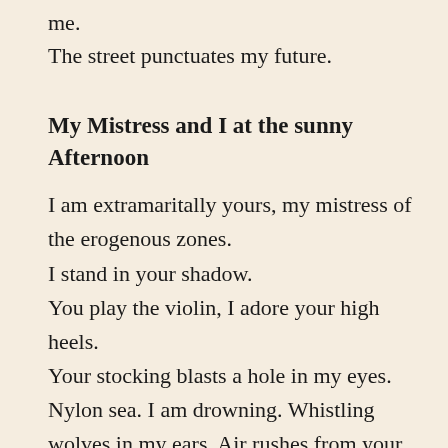me.
The street punctuates my future.
My Mistress and I at the sunny Afternoon
I am extramaritally yours, my mistress of the erogenous zones.
I stand in your shadow.
You play the violin, I adore your high heels.
Your stocking blasts a hole in my eyes.
Nylon sea. I am drowning. Whistling wolves in my ears. Air rushes from your mouth.
Enclose me in the space between your teeth.